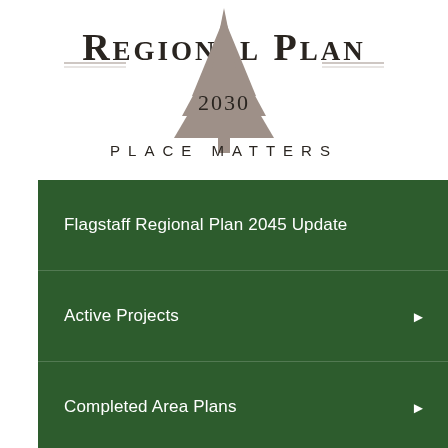[Figure (logo): Regional Plan 2030 logo with a pine tree silhouette, text 'REGIONAL PLAN' in large serif letters, '2030' below, and 'PLACE MATTERS' in spaced caps underneath]
Flagstaff Regional Plan 2045 Update
Active Projects ▶
Completed Area Plans ▶
Flagstaff Regional Plan 2030 ▶
Regional Plan Amendments ▶